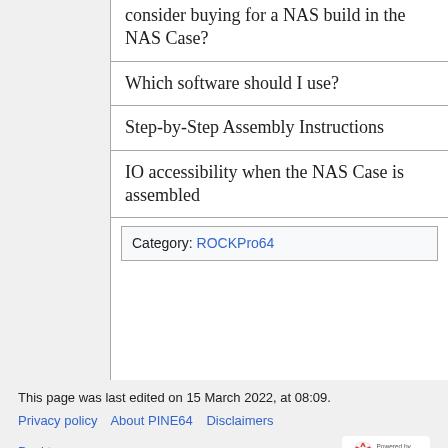consider buying for a NAS build in the NAS Case?
Which software should I use?
Step-by-Step Assembly Instructions
IO accessibility when the NAS Case is assembled
Category:  ROCKPro64
This page was last edited on 15 March 2022, at 08:09.
Privacy policy   About PINE64   Disclaimers
Desktop